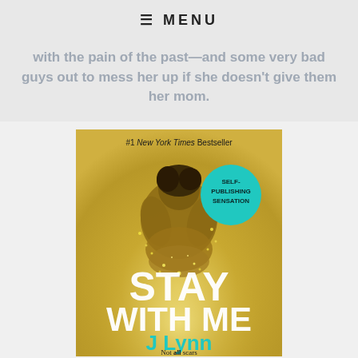≡ MENU
with the pain of the past—and some very bad guys out to mess her up if she doesn't give them her mom.
[Figure (photo): Book cover for 'Stay With Me' by J Lynn. Shows a person curled up, golden sparkles, teal badge reading 'Self-Publishing Sensation', tagline '#1 New York Times Bestseller'. Bottom text: 'Not all scars visible']